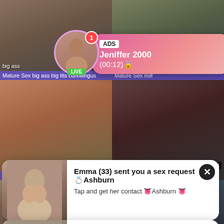[Figure (screenshot): Top-left video thumbnail: mature women group photo with 'big ass' label and purple title bar 'Mature Sex big ass big tits cunnilingus']
[Figure (screenshot): Top-right video thumbnail: mature women with duration 25:02 and purple title bar 'Mature Sex milf']
[Figure (screenshot): Middle-left video thumbnail: man and woman scene]
[Figure (screenshot): Middle-right video thumbnail: close-up dark scene]
[Figure (screenshot): Bottom-left video thumbnail: woman in casual clothes]
[Figure (screenshot): Bottom-right video thumbnail: dark scene]
ADS Jeniffer 2000 (00:12)
LIVE
big ass
Mature Sex big ass big tits cunnilingus
25:02
Mature Sex milf
Emma (33) sent you a sex request💍Shburn
Tap and get her contact 👅Ashburn 👅
Looking for Horny MILFs near Ashburn? 🔥🔥
Text & Fuck a Cheating MOM Near You 🔥🔥